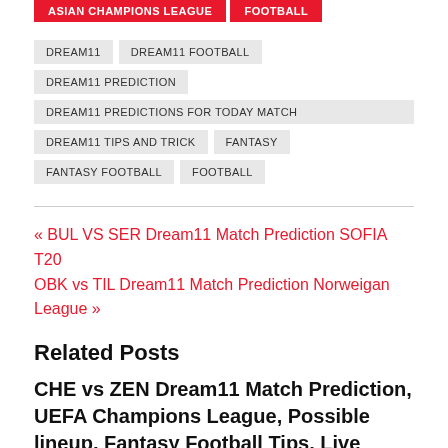ASIAN CHAMPIONS LEAGUE
FOOTBALL
DREAM11
DREAM11 FOOTBALL
DREAM11 PREDICTION
DREAM11 PREDICTIONS FOR TODAY MATCH
DREAM11 TIPS AND TRICK
FANTASY
FANTASY FOOTBALL
FOOTBALL
« BUL VS SER Dream11 Match Prediction SOFIA T20
OBK vs TIL Dream11 Match Prediction Norweigan League »
Related Posts
CHE vs ZEN Dream11 Match Prediction, UEFA Champions League, Possible lineup, Fantasy Football Tips, Live Score
September 14, 2021 / Subhashish Lal